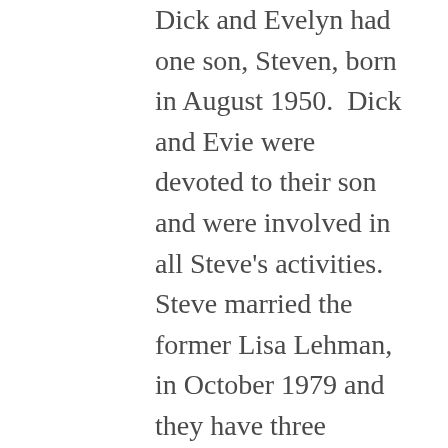Dick and Evelyn had one son, Steven, born in August 1950.  Dick and Evie were devoted to their son and were involved in all Steve's activities. Steve married the former Lisa Lehman, in October 1979 and they have three children, Kyle, Molly, and Emily.
Evie and Dick often played tennis at Beale Park or Jastro Park and they always enjoyed going to the “Big Game” between Cal and Stanford. (Yes, they saw the game where the CAL player ran over the Stanford trombone player to score the winning touchdown.) They also enjoyed attending the golf tournament at Pebble Beach for many years. They belonged to the World Affairs Council that met monthly in Los Angeles.  The World Affairs Council brought noted speakers (Ronald Reagan, Gore